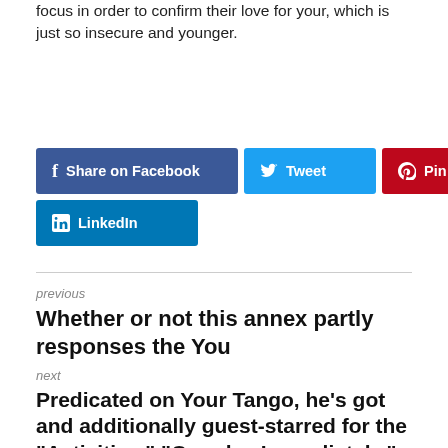focus in order to confirm their love for your, which is just so insecure and younger.
[Figure (other): Social sharing buttons: Share on Facebook, Tweet, Pin it, LinkedIn]
previous
Whether or not this annex partly responses the You
next
Predicated on Your Tango, he’s got and additionally guest-starred for the “Activities,” “One-day Immediately,” “Bless That it Cl...